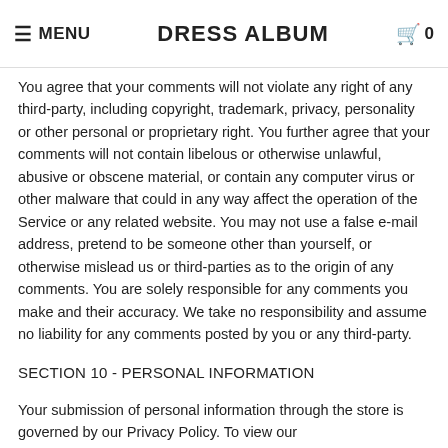≡ MENU  DRESS ALBUM  🛒 0
You agree that your comments will not violate any right of any third-party, including copyright, trademark, privacy, personality or other personal or proprietary right. You further agree that your comments will not contain libelous or otherwise unlawful, abusive or obscene material, or contain any computer virus or other malware that could in any way affect the operation of the Service or any related website. You may not use a false e-mail address, pretend to be someone other than yourself, or otherwise mislead us or third-parties as to the origin of any comments. You are solely responsible for any comments you make and their accuracy. We take no responsibility and assume no liability for any comments posted by you or any third-party.
SECTION 10 - PERSONAL INFORMATION
Your submission of personal information through the store is governed by our Privacy Policy. To view our